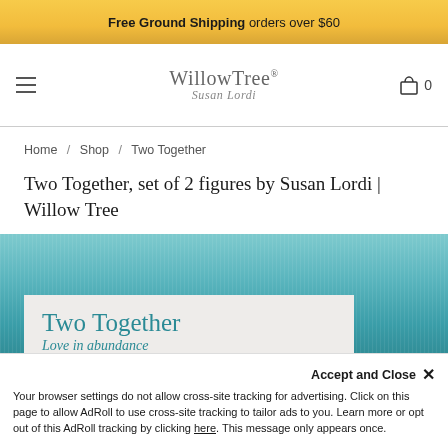Free Ground Shipping orders over $60
[Figure (logo): Willow Tree by Susan Lordi logo with hamburger menu and shopping cart icon showing 0 items]
Home / Shop / Two Together
Two Together, set of 2 figures by Susan Lordi | Willow Tree
[Figure (screenshot): Product image area with teal textured background and a light beige product card showing 'Two Together' title and 'Love in abundance' subtitle in teal]
Accept and Close ×
Your browser settings do not allow cross-site tracking for advertising. Click on this page to allow AdRoll to use cross-site tracking to tailor ads to you. Learn more or opt out of this AdRoll tracking by clicking here. This message only appears once.